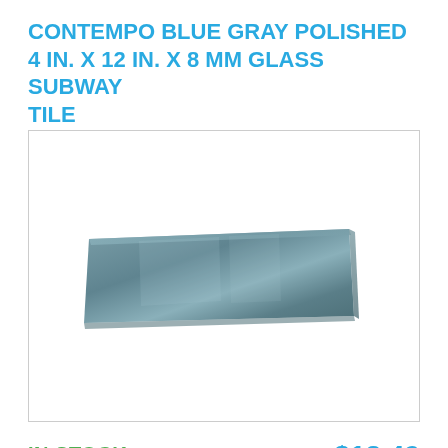CONTEMPO BLUE GRAY POLISHED 4 IN. X 12 IN. X 8 MM GLASS SUBWAY TILE
[Figure (photo): A rectangular blue-gray polished glass subway tile shown at a slight angle on a white background inside a bordered image box.]
IN STOCK
$13.49
Qty:  1  ADD TO CART